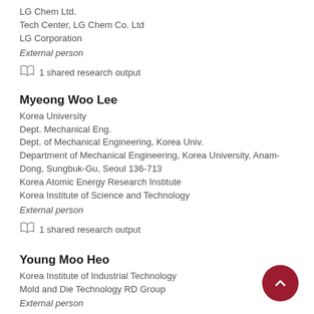LG Chem Ltd.
Tech Center, LG Chem Co. Ltd
LG Corporation
External person
1 shared research output
Myeong Woo Lee
Korea University
Dept. Mechanical Eng.
Dept. of Mechanical Engineering, Korea Univ.
Department of Mechanical Engineering, Korea University, Anam-Dong, Sungbuk-Gu, Seoul 136-713
Korea Atomic Energy Research Institute
Korea Institute of Science and Technology
External person
1 shared research output
Young Moo Heo
Korea Institute of Industrial Technology
Mold and Die Technology RD Group
External person